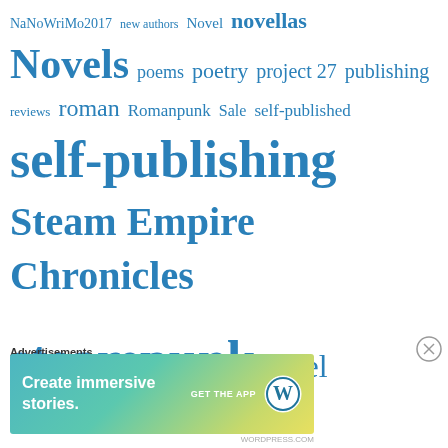[Figure (other): Tag cloud with blog/writing related tags in varying sizes in blue: NaNoWriMo2017, new authors, Novel, novellas, Novels, poems, poetry, project 27, publishing, reviews, roman, Romanpunk, Sale, self-published, self-publishing, Steam Empire Chronicles, steampunk, Steel Praetorian, Tallavanor's Tales, The Last Gladiator, thoughts, writing, Year of Accountability]
Advertisements
[Figure (other): Advertisement banner: Create immersive stories. GET THE APP with WordPress logo]